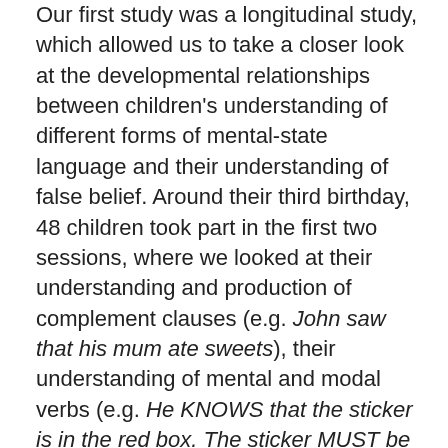Our first study was a longitudinal study, which allowed us to take a closer look at the developmental relationships between children's understanding of different forms of mental-state language and their understanding of false belief. Around their third birthday, 48 children took part in the first two sessions, where we looked at their understanding and production of complement clauses (e.g. John saw that his mum ate sweets), their understanding of mental and modal verbs (e.g. He KNOWS that the sticker is in the red box. The sticker MUST be in the red box), and their understanding of false belief. In addition, we also measured their general linguistic skills (vocabulary and grammar), their executive function (e.g. working memory, inhibition), and other Theory of Mind skills (e.g. to understand others' desires). Unlike previous studies, we also made sure that our false-belief tests did not contain any of the mental-state language used in the other tasks. Six months later, when children were